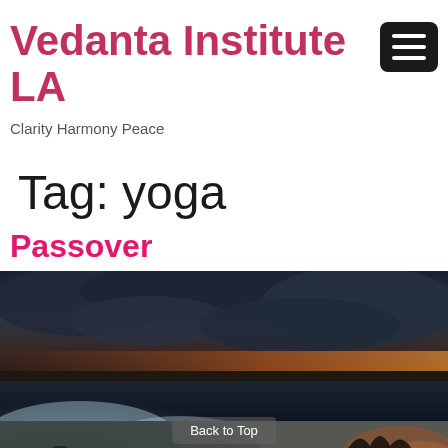Vedanta Institute LA
Clarity Harmony Peace
Tag: yoga
Passover
[Figure (photo): Dark dramatic painting showing stormy skies over water with smoke or mist in the foreground and a glowing landscape in the background]
Back to Top